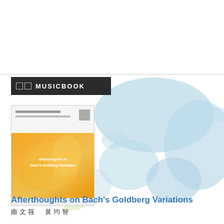□□ MUSICBOOK
[Figure (photo): Book cover of 'Afterthoughts on Bach's Goldberg Variations' with orange gradient background]
[Figure (map): Light blue world map silhouette as background decoration]
Afterthoughts on Bach's Goldberg Variations
曲文筱　黃均智